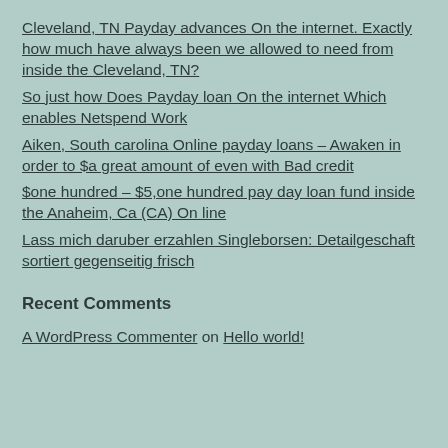Cleveland, TN Payday advances On the internet. Exactly how much have always been we allowed to need from inside the Cleveland, TN?
So just how Does Payday loan On the internet Which enables Netspend Work
Aiken, South carolina Online payday loans – Awaken in order to $a great amount of even with Bad credit
$one hundred – $5,one hundred pay day loan fund inside the Anaheim, Ca (CA) On line
Lass mich daruber erzahlen Singleborsen: Detailgeschaft sortiert gegenseitig frisch
Recent Comments
A WordPress Commenter on Hello world!